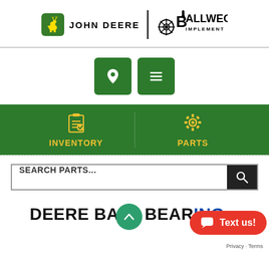[Figure (logo): John Deere logo with leaping deer in green rounded square, text JOHN DEERE, vertical divider, Ballweg Implement logo with gear/wheel graphic]
[Figure (screenshot): Two green navigation buttons: location pin icon and hamburger menu icon]
[Figure (infographic): Green navigation bar with two items: INVENTORY (clipboard with checkmark icon) and PARTS (gear icon), yellow text on green background]
[Figure (screenshot): Search bar with placeholder text SEARCH PARTS... and black search button with magnifying glass icon]
DEERE BALL BEARING
[Figure (other): Green circular scroll-up button with upward chevron arrow]
[Figure (other): Red pill-shaped Text us! button with chat bubble icon]